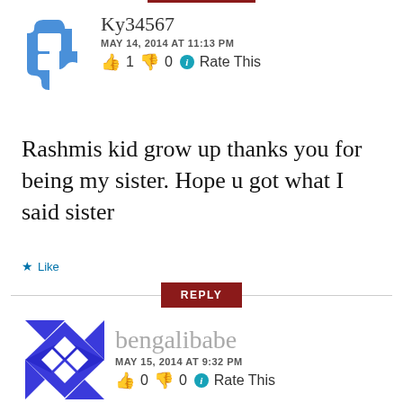[Figure (illustration): Blue puzzle-piece style circular avatar for user Ky34567]
Ky34567
MAY 14, 2014 AT 11:13 PM
👍 1 👎 0 ℹ Rate This
Rashmis kid grow up thanks you for being my sister. Hope u got what I said sister
★ Like
REPLY
[Figure (illustration): Blue geometric diamond-pattern square avatar for user bengalibabe]
bengalibabe
MAY 15, 2014 AT 9:32 PM
👍 0 👎 0 ℹ Rate This